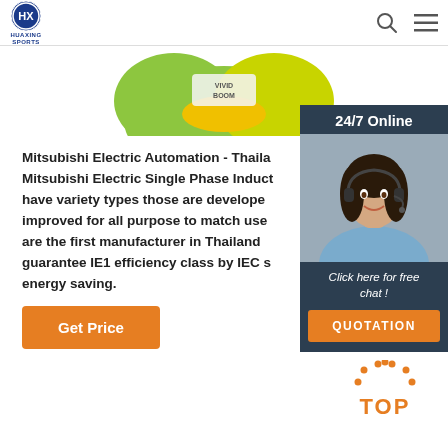HUAXING SPORTS
[Figure (photo): Partial product image showing green and yellow object with VIVID BOOM branding]
Mitsubishi Electric Automation - Thaila... Mitsubishi Electric Single Phase Induct... have variety types those are develope... improved for all purpose to match use... are the first manufacturer in Thailand ... guarantee IE1 efficiency class by IEC s... energy saving.
[Figure (photo): 24/7 Online chat widget with woman wearing headset, Click here for free chat text, and QUOTATION button]
Get Price
[Figure (other): TOP button with orange dotted arrow pointing up]